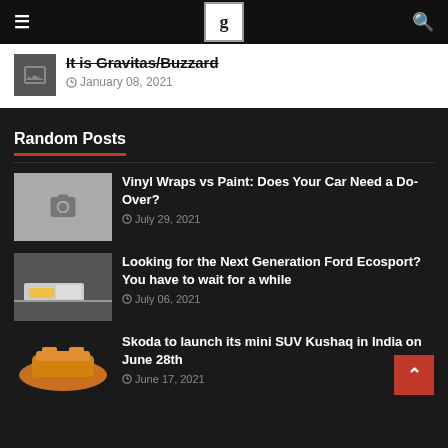≡  [logo]  🔍
It is Gravitas/Buzzard
January 08, 2021
Random Posts
Vinyl Wraps vs Paint: Does Your Car Need a Do-Over?
July 29, 2021
Looking for the Next Generation Ford Ecosport? You have to wait for a while
July 06, 2021
Skoda to launch its mini SUV Kushaq in India on June 28th
June 17, 2021